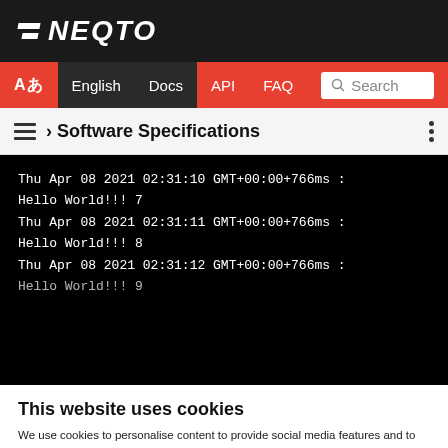NEQTO
Aあ English Docs API FAQ Search
≡ › Software Specifications
Thu Apr 08 2021 02:31:10 GMT+00:00+766ms : Hello World!!! 7
Thu Apr 08 2021 02:31:11 GMT+00:00+766ms : Hello World!!! 8
Thu Apr 08 2021 02:31:12 GMT+00:00+766ms : Hello World!!! 9
This website uses cookies
We use cookies to personalise content to provide social media features and to analyse our traffic. We also share information about your use of our site with our social media and analytics partners who may combine it with other information that you've provided to them or that they've collected from your use of their services.
OK    Show details ∨